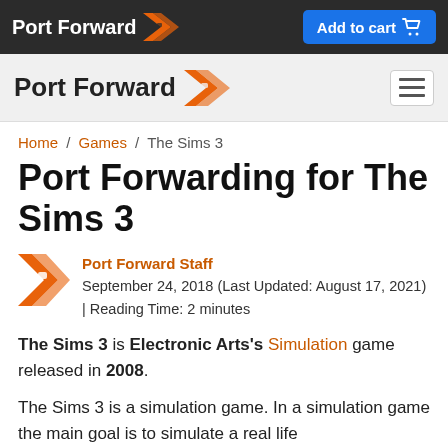Port Forward | Add to cart
Port Forward (secondary nav with hamburger menu)
Home / Games / The Sims 3
Port Forwarding for The Sims 3
Port Forward Staff
September 24, 2018 (Last Updated: August 17, 2021) | Reading Time: 2 minutes
The Sims 3 is Electronic Arts's Simulation game released in 2008.
The Sims 3 is a simulation game. In a simulation game the main goal is to simulate a real life